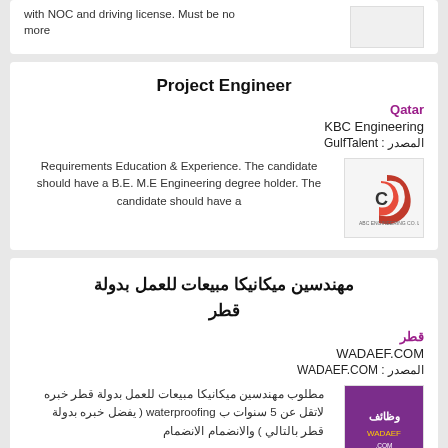with NOC and driving license. Must be no more
Project Engineer
Qatar
KBC Engineering
المصدر : GulfTalent
Requirements Education & Experience. The candidate should have a B.E. M.E Engineering degree holder. The candidate should have a
[Figure (logo): KBC Engineering company logo with stylized C and Arabic text]
مهندسين ميكانيكا مبيعات للعمل بدولة قطر
قطر
WADAEF.COM
المصدر : WADAEF.COM
مطلوب مهندسين ميكانيكا مبيعات للعمل بدولة قطر خبره لاتقل عن 5 سنوات ب waterproofing ( يفضل خبره بدولة قطر بالتالي ) والانضمام الانضمام
[Figure (logo): Wadaef.com logo with purple background and Arabic text]